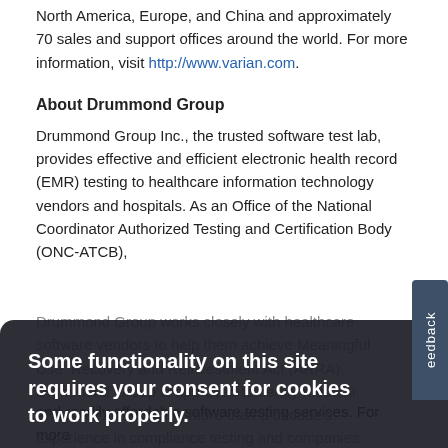North America, Europe, and China and approximately 70 sales and support offices around the world. For more information, visit http://www.varian.com.
About Drummond Group
Drummond Group Inc., the trusted software test lab, provides effective and efficient electronic health record (EMR) testing to healthcare information technology vendors and hospitals. As an Office of the National Coordinator Authorized Testing and Certification Body (ONC-ATCB), Drummond Group works closely with healthcare software vendors to help them achieve Meaningful Use. Recovery and Reinvestment Act (ARRA). Drummond Group is approved to certify modular EMRs for both, having more than a decade's experience in compliance testing and companies. Drummond's healthcare highly reliable and readily affordable software testing services. For more information, please...
Some functionality on this site requires your consent for cookies to work properly.
I consent to cookies
I want more information
eedback